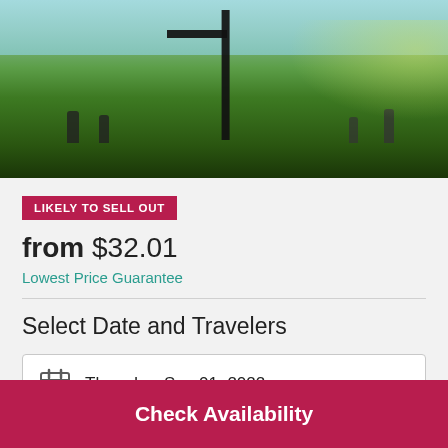[Figure (photo): Outdoor photo showing people on a grassy hill with playground equipment silhouetted against a bright sky]
LIKELY TO SELL OUT
from $32.01
Lowest Price Guarantee
Select Date and Travelers
Thursday, Sep 01, 2022
Number of travelers
Check Availability